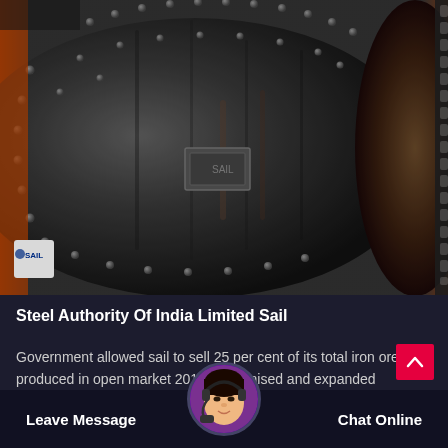[Figure (photo): Close-up photograph of a large industrial steel ball mill or cylindrical grinding machine with rivets/bolts, photographed outdoors. The machine is dark grey/black with orange structural elements visible on the sides. A SAIL (Steel Authority of India Limited) logo badge is visible in the lower left of the image.]
Steel Authority Of India Limited Sail
Government allowed sail to sell 25 per cent of its total iron ore produced in open market 2018 modernised and expanded bhilai steel plant dedicated to the...
[Figure (photo): Circular avatar/profile image of a woman wearing a headset, used as a live chat support representative button in the bottom navigation bar.]